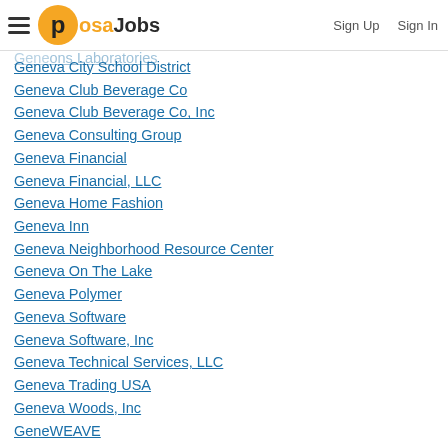posaJobs | Sign Up | Sign In
Genesys Consulting Services
Gene... (partially visible)
Gene... ons Laboratories
Geneva City School District
Geneva Club Beverage Co
Geneva Club Beverage Co, Inc
Geneva Consulting Group
Geneva Financial
Geneva Financial, LLC
Geneva Home Fashion
Geneva Inn
Geneva Neighborhood Resource Center
Geneva On The Lake
Geneva Polymer
Geneva Software
Geneva Software, Inc
Geneva Technical Services, LLC
Geneva Trading USA
Geneva Woods, Inc
GeneWEAVE
GENEWIZ
GENEX Services
GENEX Services, LLC